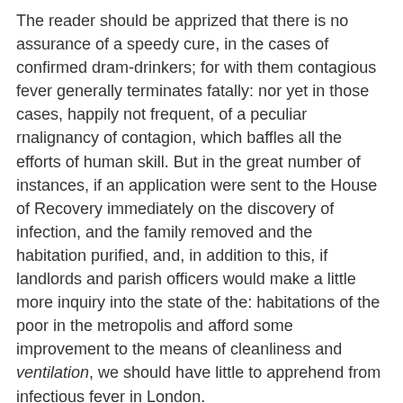The reader should be apprized that there is no assurance of a speedy cure, in the cases of confirmed dram-drinkers; for with them contagious fever generally terminates fatally: nor yet in those cases, happily not frequent, of a peculiar rnalignancy of contagion, which baffles all the efforts of human skill. But in the great number of instances, if an application were sent to the House of Recovery immediately on the discovery of infection, and the family removed and the habitation purified, and, in addition to this, if landlords and parish officers would make a little more inquiry into the state of the: habitations of the poor in the metropolis and afford some improvement to the means of cleanliness and ventilation, we should have little to apprehend from infectious fever in London.
The costs of the benefits which the Fever Institution has conferred on the metropolis in the preceding year has amount to £510 13s 4d.; while the annual income of the year, with all the exertions of the Treasurer and other friends (including benefactions and two parochial payments) has only reached to £537 18s; being twenty seven pounds four shillings and ten pence more than its necessary and